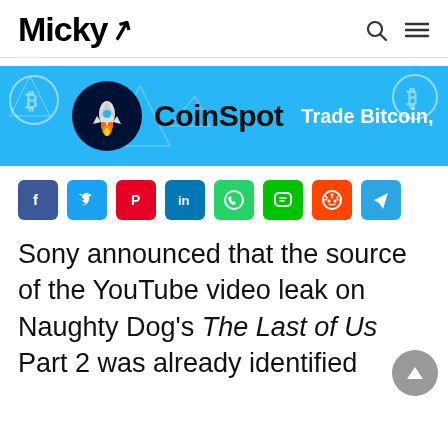Micky
[Figure (illustration): CoinSpot advertisement banner with blue background, rocket logo, CoinSpot text, and 'Trade Bitcoin,' tagline]
[Figure (infographic): Social sharing icons row: Facebook, Twitter, Pinterest, LinkedIn, WhatsApp, Line, Reddit, Telegram]
Sony announced that the source of the YouTube video leak on Naughty Dog's The Last of Us Part 2 was already identified